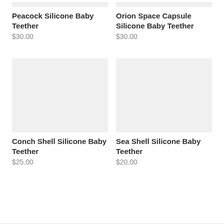[Figure (photo): Partially visible product image placeholder for Peacock Silicone Baby Teether (top crop)]
Peacock Silicone Baby Teether
$30.00
[Figure (photo): Partially visible product image placeholder for Orion Space Capsule Silicone Baby Teether (top crop)]
Orion Space Capsule Silicone Baby Teether
$30.00
[Figure (photo): Product image placeholder for Conch Shell Silicone Baby Teether]
Conch Shell Silicone Baby Teether
$25.00
[Figure (photo): Product image placeholder for Sea Shell Silicone Baby Teether]
Sea Shell Silicone Baby Teether
$20.00